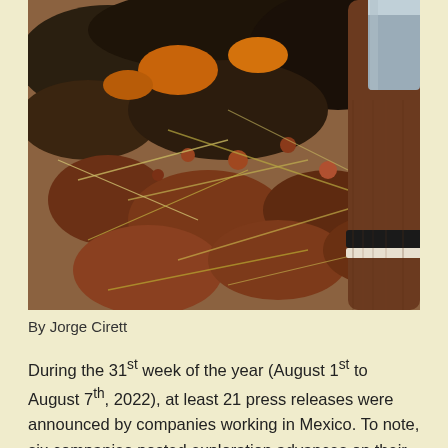[Figure (photo): Close-up photograph of rocky ground with reddish-brown mineral rocks, dry grass/straw, and a geological hammer or pickaxe handle with black and white stripe bands resting on the rocks.]
By Jorge Cirett
During the 31st week of the year (August 1st to August 7th, 2022), at least 21 press releases were announced by companies working in Mexico. To note, six companies posted exploration advances on their